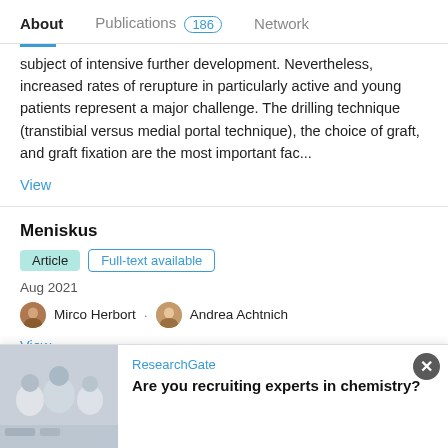About   Publications 186   Network
subject of intensive further development. Nevertheless, increased rates of rerupture in particularly active and young patients represent a major challenge. The drilling technique (transtibial versus medial portal technique), the choice of graft, and graft fixation are the most important fac...
View
Meniskus
Article   Full-text available
Aug 2021
Mirco Herbort · Andrea Achtnich
View
Advertisement
ResearchGate
Are you recruiting experts in chemistry?